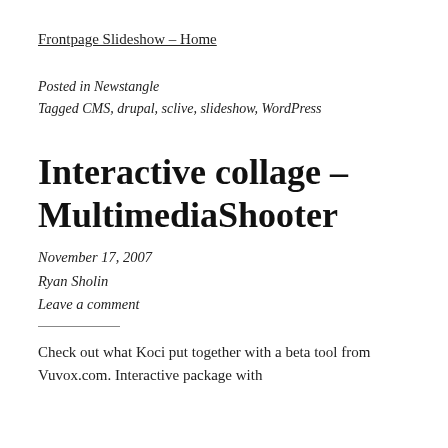Frontpage Slideshow – Home
Posted in Newstangle
Tagged CMS, drupal, sclive, slideshow, WordPress
Interactive collage – MultimediaShooter
November 17, 2007
Ryan Sholin
Leave a comment
Check out what Koci put together with a beta tool from Vuvox.com. Interactive package with